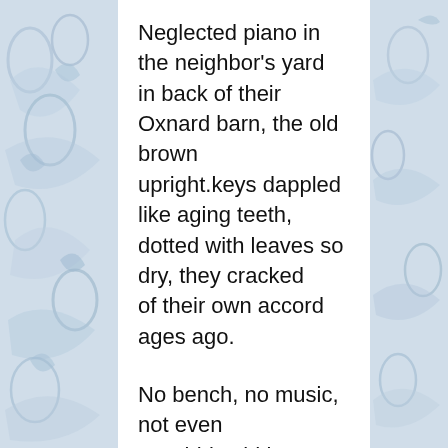[Figure (illustration): Decorative blue and white ceramic tile pattern on left and right side margins of the page, with floral and vine motifs in muted blue tones.]
Neglected piano in the neighbor's yard
in back of their Oxnard barn, the old brown
upright.keys dappled like aging teeth,
dotted with leaves so dry, they cracked
of their own accord ages ago.

No bench, no music, not even
a wobbly old bar stool
doing double duty—
forgotten—out of tune—